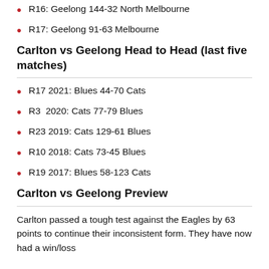R16: Geelong 144-32 North Melbourne
R17: Geelong 91-63 Melbourne
Carlton vs Geelong Head to Head (last five matches)
R17 2021: Blues 44-70 Cats
R3  2020: Cats 77-79 Blues
R23 2019: Cats 129-61 Blues
R10 2018: Cats 73-45 Blues
R19 2017: Blues 58-123 Cats
Carlton vs Geelong Preview
Carlton passed a tough test against the Eagles by 63 points to continue their inconsistent form. They have now had a win/loss